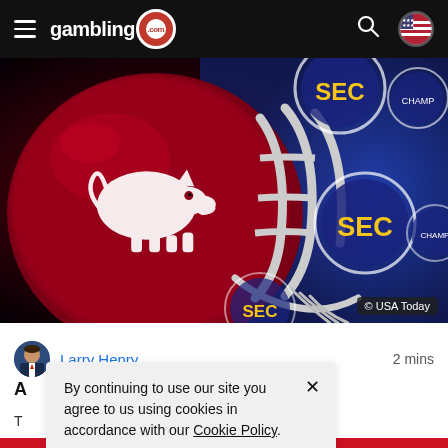gambling.com navigation bar
[Figure (photo): Arkansas Razorbacks football helmet (dark red with white hog logo) in front of a blue SEC Championship backdrop with SEC logos. Photo credit: © USA Today]
Larry Henry   2 mins
A rts Betting Profit
T cs betting mobile a etter resu...
By continuing to use our site you agree to us using cookies in accordance with our Cookie Policy.
GOT IT